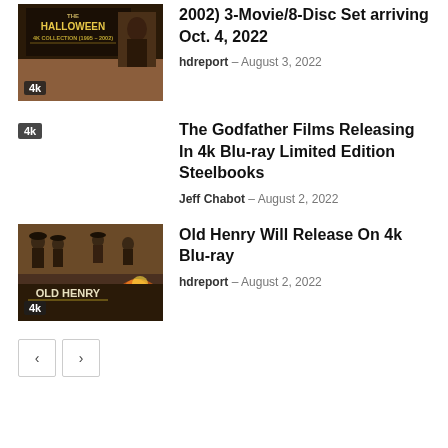[Figure (photo): Halloween 4K Collection (1995-2002) Blu-ray cover with '4k' badge]
2002) 3-Movie/8-Disc Set arriving Oct. 4, 2022
hdreport – August 3, 2022
[Figure (other): Placeholder area with 4k badge for Godfather article]
The Godfather Films Releasing In 4k Blu-ray Limited Edition Steelbooks
Jeff Chabot – August 2, 2022
[Figure (photo): Old Henry movie cover art with '4k' badge]
Old Henry Will Release On 4k Blu-ray
hdreport – August 2, 2022